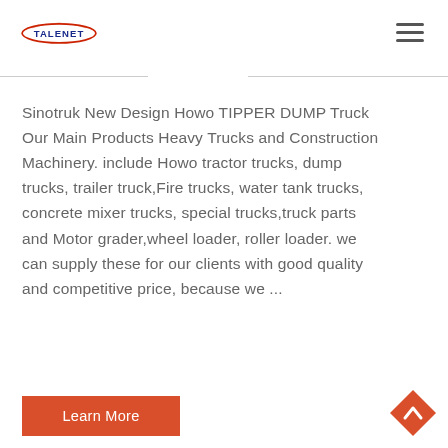TALENET
Sinotruk New Design Howo TIPPER DUMP Truck Our Main Products Heavy Trucks and Construction Machinery. include Howo tractor trucks, dump trucks, trailer truck,Fire trucks, water tank trucks, concrete mixer trucks, special trucks,truck parts and Motor grader,wheel loader, roller loader. we can supply these for our clients with good quality and competitive price, because we ...
Learn More